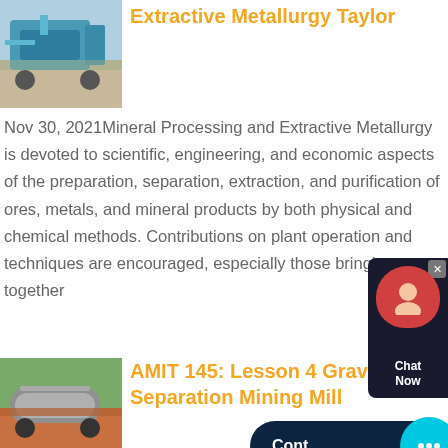[Figure (photo): Mining/crushing machine on site, blue equipment on gravel]
Extractive Metallurgy Taylor
Nov 30, 2021Mineral Processing and Extractive Metallurgy is devoted to scientific, engineering, and economic aspects of the preparation, separation, extraction, and purification of ores, metals, and mineral products by both physical and chemical methods. Contributions on plant operation and techniques are encouraged, especially those bringing together
[Figure (photo): Industrial cylinders/tanks loaded on a truck, mining equipment]
AMIT 145: Lesson 4 Gravity Separation Mining Mill